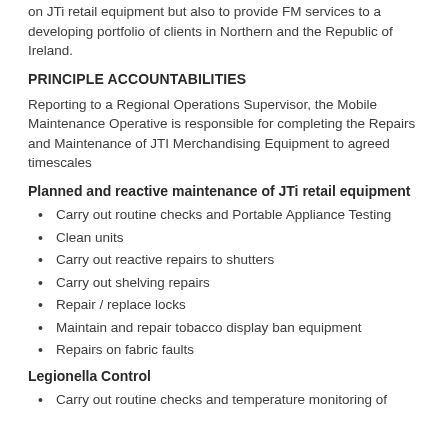on JTi retail equipment but also to provide FM services to a developing portfolio of clients in Northern and the Republic of Ireland.
PRINCIPLE ACCOUNTABILITIES
Reporting to a Regional Operations Supervisor, the Mobile Maintenance Operative is responsible for completing the Repairs and Maintenance of JTI Merchandising Equipment to agreed timescales
Planned and reactive maintenance of JTi retail equipment
Carry out routine checks and Portable Appliance Testing
Clean units
Carry out reactive repairs to shutters
Carry out shelving repairs
Repair / replace locks
Maintain and repair tobacco display ban equipment
Repairs on fabric faults
Legionella Control
Carry out routine checks and temperature monitoring of